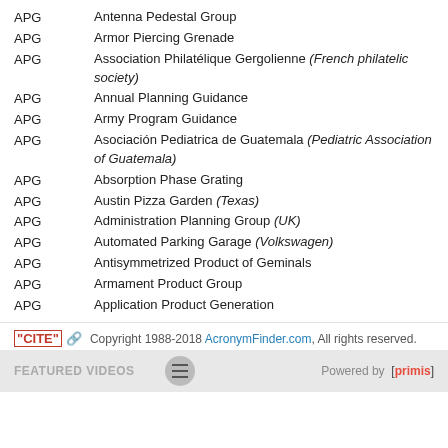APG    Antenna Pedestal Group
APG    Armor Piercing Grenade
APG    Association Philatélique Gergolienne (French philatelic society)
APG    Annual Planning Guidance
APG    Army Program Guidance
APG    Asociación Pediatrica de Guatemala (Pediatric Association of Guatemala)
APG    Absorption Phase Grating
APG    Austin Pizza Garden (Texas)
APG    Administration Planning Group (UK)
APG    Automated Parking Garage (Volkswagen)
APG    Antisymmetrized Product of Geminals
APG    Armament Product Group
APG    Application Product Generation
"CITE" [link icon] Copyright 1988-2018 AcronymFinder.com, All rights reserved. FEATURED VIDEOS Powered by [primis]